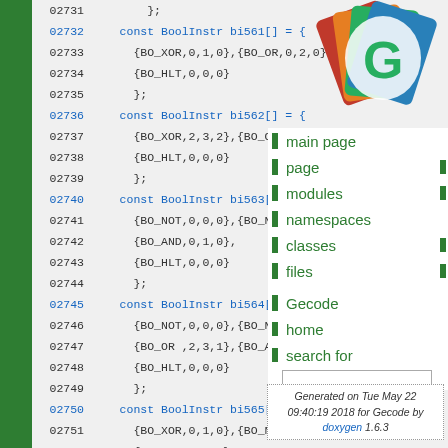[Figure (screenshot): Doxygen-generated C++ source code documentation page showing BoolInstr array definitions (bi561 through bi567) with line numbers 02731-02760, alongside a navigation sidebar with Gecode logo and nav links (main page, modules, namespaces, classes, files, Gecode home, search for) and a footer noting generation date Tue May 22 09:40:19 2018 for Gecode by doxygen 1.6.3]